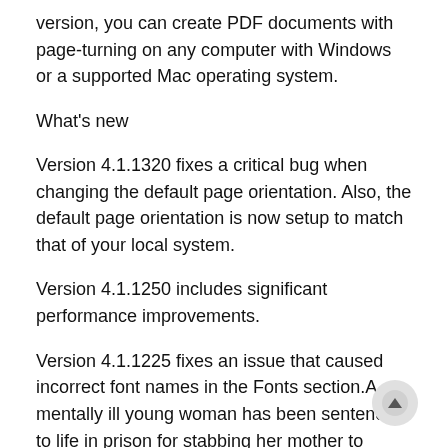version, you can create PDF documents with page-turning on any computer with Windows or a supported Mac operating system.
What's new
Version 4.1.1320 fixes a critical bug when changing the default page orientation. Also, the default page orientation is now setup to match that of your local system.
Version 4.1.1250 includes significant performance improvements.
Version 4.1.1225 fixes an issue that caused incorrect font names in the Fonts section.A mentally ill young woman has been sentenced to life in prison for stabbing her mother to death last year.
Tamara Marie Watts, 24, pleaded guilty to second-degree murder in her mother's death on Friday, two days after her trial was set to begin. Watts told the